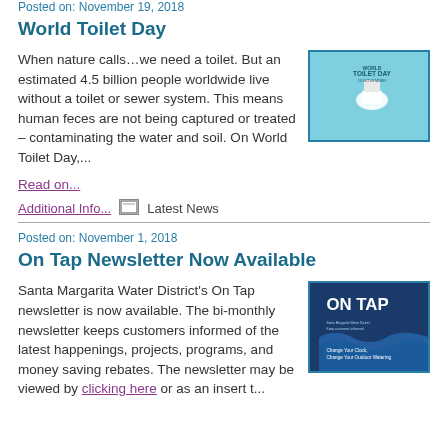Posted on: November 19, 2018
World Toilet Day
[Figure (illustration): World Toilet Day promotional image with a toilet on a light blue background]
When nature calls…we need a toilet. But an estimated 4.5 billion people worldwide live without a toilet or sewer system. This means human feces are not being captured or treated – contaminating the water and soil. On World Toilet Day,...
Read on...
Additional Info...  Latest News
Posted on: November 1, 2018
On Tap Newsletter Now Available
[Figure (illustration): On Tap newsletter cover with blue wave design and text 'Change Your Clock, Change Your Outdoor Watering']
Santa Margarita Water District's On Tap newsletter is now available. The bi-monthly newsletter keeps customers informed of the latest happenings, projects, programs, and money saving rebates. The newsletter may be viewed by clicking here or as an insert t...